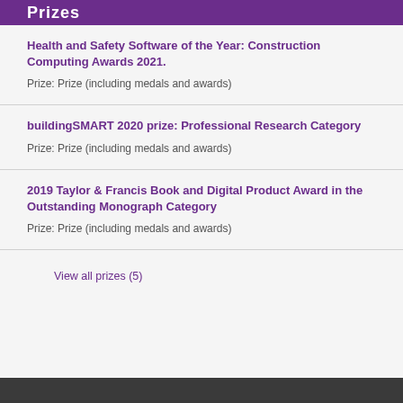Prizes
Health and Safety Software of the Year: Construction Computing Awards 2021.
Prize: Prize (including medals and awards)
buildingSMART 2020 prize: Professional Research Category
Prize: Prize (including medals and awards)
2019 Taylor & Francis Book and Digital Product Award in the Outstanding Monograph Category
Prize: Prize (including medals and awards)
View all prizes (5)